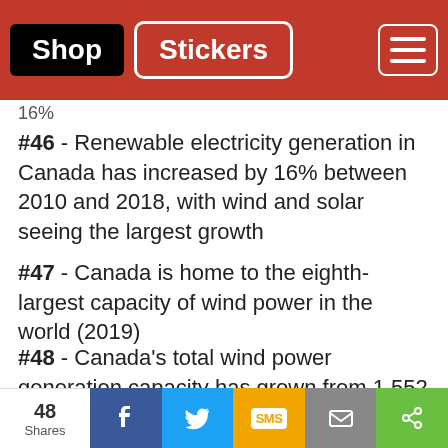Shop | Stickers
16%
#46 - Renewable electricity generation in Canada has increased by 16% between 2010 and 2018, with wind and solar seeing the largest growth
#47 - Canada is home to the eighth-largest capacity of wind power in the world (2019)
#48 - Canada's total wind power generation capacity has grown from 1,552 gigawatt-hours (GWh) in 2005 to 32,855 GWh in 2018
#49 - Canada's total solar power generation capacity has grown from 17 GWh in 2005 to 3,796
48 Shares | Facebook | Twitter | SMS | Mail | Share